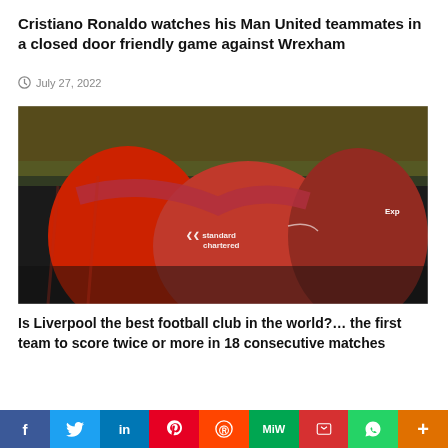Cristiano Ronaldo watches his Man United teammates in a closed door friendly game against Wrexham
July 27, 2022
[Figure (photo): Liverpool FC players in red jerseys celebrating, with Standard Chartered sponsorship visible on the shirt]
Is Liverpool the best football club in the world?... the first team to score twice or more in 18 consecutive matches
f | Twitter | in | Pinterest | Reddit | MW | Mix | WhatsApp | +